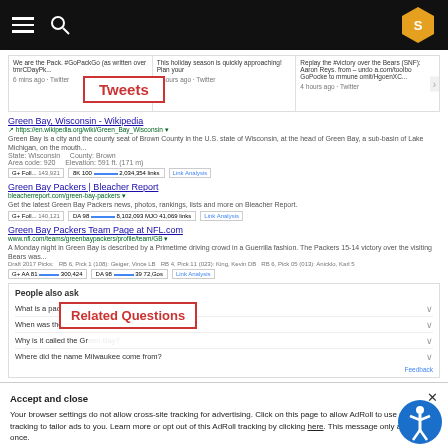Navigation bar with hamburger menu, search icon, and hexagon badge
[Figure (screenshot): Tweets section showing three tweet columns with a red-bordered 'Tweets' label overlay]
Green Bay, Wisconsin - Wikipedia
en.wikipedia.org/wiki/Green_Bay,_Wisconsin
Green Bay is a city and the county seat of Brown County in the U.S. state of Wisconsin, at the head of Green Bay, a sub-basin of Lake Michigan, on the mouth...
Green Bay Packers | Bleacher Report
bleacherreport.com/green-bay-packers
Get the latest Green Bay Packers news, photos, rankings, lists and more on Bleacher Report.
Green Bay Packers Team Page at NFL.com
www.nfl.com/teams/greenbaypackers/profile/team/GB
A Monday night in Green Bay is described by a Primetime driving crowd in a Guerrilla fashion. The Packers 15-14 victory over the visiting Bears was...
People also ask
What is a packer as in Green Bay Packers?
When was the city of Green Bay founded?
Why is it called the Green Bay?
Where did the name Milwaukee come from?
Related Questions (overlay label)
Searches related to green bay
green bay packers score   green bay packers news
Accept and close
Your browser settings do not allow cross-site tracking for advertising. Click on this page to allow AdRoll to use cross-site tracking to tailor ads to you. Learn more or opt out of this AdRoll tracking by clicking here. This message only appears once.